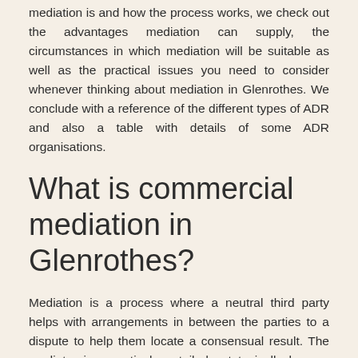mediation is and how the process works, we check out the advantages mediation can supply, the circumstances in which mediation will be suitable as well as the practical issues you need to consider whenever thinking about mediation in Glenrothes. We conclude with a reference of the different types of ADR and also a table with details of some ADR organisations.
What is commercial mediation in Glenrothes?
Mediation is a process where a neutral third party helps with arrangements in between the parties to a dispute to help them locate a consensual result. The mediator is proactively entailed yet typically has no power to adjudicate or claim that is best as well as that is wrong. Notably, in a mediation the parties keep ultimate control over the decision of